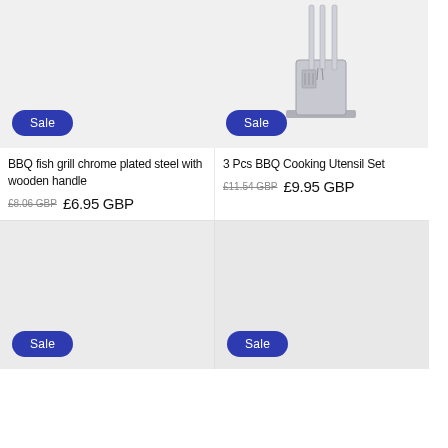[Figure (photo): Product image placeholder with light grey background for BBQ fish grill chrome plated steel with wooden handle, with a blue Sale badge]
[Figure (photo): BBQ cooking utensil set - stainless steel tools in a stand, partial image shown from top, with a blue Sale badge]
BBQ fish grill chrome plated steel with wooden handle
£8.06 GBP  £6.95 GBP
3 Pcs BBQ Cooking Utensil Set
£11.54 GBP  £9.95 GBP
[Figure (photo): Product image placeholder with light grey background, with a blue Sale badge]
[Figure (photo): Product image placeholder with light grey background, with a blue Sale badge]